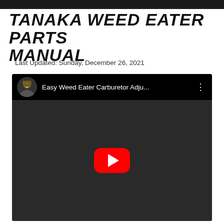TANAKA WEED EATER PARTS MANUAL
Last Updated: Sunday, December 26, 2021
[Figure (screenshot): YouTube video embed showing 'Easy Weed Eater Carburetor Adju...' with a red play button in the center, thumbnail showing a weed eater engine being worked on with a screwdriver in background, channel avatar showing a dog, on dark/outdoor background.]